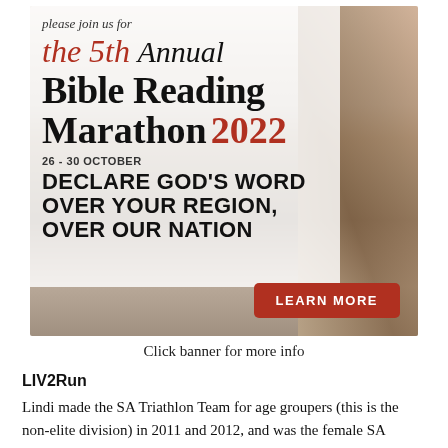[Figure (illustration): Advertisement banner for the 5th Annual Bible Reading Marathon 2022, 26-30 October. Features text 'please join us for the 5th Annual BIBLE READING MARATHON 2022' and 'DECLARE GOD'S WORD OVER YOUR REGION, OVER OUR NATION' with a 'LEARN MORE' button, overlaid on a rocky landscape background.]
Click banner for more info
LIV2Run
Lindi made the SA Triathlon Team for age groupers (this is the non-elite division) in 2011 and 2012, and was the female SA champ in 2017 for the age group 27-39. She joined LIV in 2014 and started a running club (LIV2Run) for all the kids and moms on the village